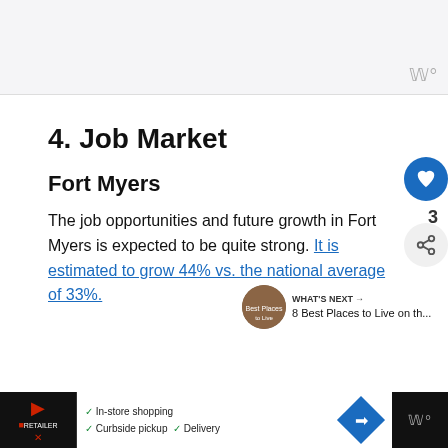[Figure (screenshot): Top advertisement banner area with light gray background and weather widget icon in bottom right corner]
4. Job Market
Fort Myers
The job opportunities and future growth in Fort Myers is expected to be quite strong. It is estimated to grow 44% vs. the national average of 33%.
[Figure (screenshot): Bottom advertisement banner with retailer logo, checkmarks for In-store shopping, Curbside pickup, Delivery, navigation icon, and weather widget]